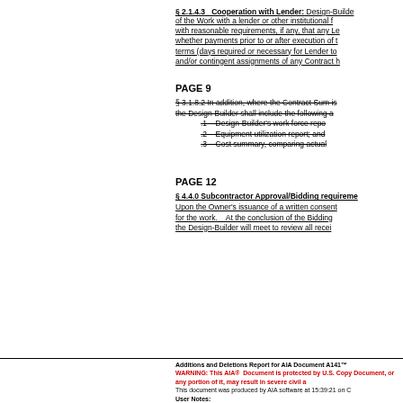§ 2.1.4.3  Cooperation with Lender:
Design-Builder of the Work with a lender or other institutional f with reasonable requirements, if any, that any Le whether payments prior to or after execution of t terms (days required or necessary for Lender to and/or contingent assignments of any Contract h
PAGE 9
§ 3.1.8.2 In addition, where the Contract Sum is the Design-Builder shall include the following a
.1    Design-Builder's work force repo
.2    Equipment utilization report; and
.3    Cost summary, comparing actual
PAGE 12
§ 4.4.0 Subcontractor Approval/Bidding requireme
Upon the Owner's issuance of a written consent for the work.   At the conclusion of the Bidding the Design-Builder will meet to review all recei
Additions and Deletions Report for AIA Document A141™
WARNING: This AIA® Document is protected by U.S. Copy Document, or any portion of it, may result in severe civil a This document was produced by AIA software at 15:39:21 on C
User Notes: